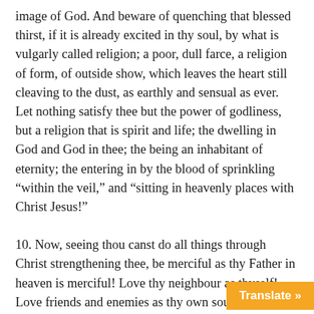image of God. And beware of quenching that blessed thirst, if it is already excited in thy soul, by what is vulgarly called religion; a poor, dull farce, a religion of form, of outside show, which leaves the heart still cleaving to the dust, as earthly and sensual as ever. Let nothing satisfy thee but the power of godliness, but a religion that is spirit and life; the dwelling in God and God in thee; the being an inhabitant of eternity; the entering in by the blood of sprinkling “within the veil,” and “sitting in heavenly places with Christ Jesus!”
10. Now, seeing thou canst do all things through Christ strengthening thee, be merciful as thy Father in heaven is merciful! Love thy neighbour as thyself! Love friends and enemies as thy own soul! And let thy love be longsuffering and patient towards all men. Let it be kind, soft, benign; inspiring thee with the most amiable sweetness, and the most fervent and tender affection. Let it rejoice in the truth, wheresoever it is found; the truth that is after godliness. Enjoy whatsoever brings glory to God, and promotes peace and goodwill among men. In love, cover all dead and the absent speaking nothing but